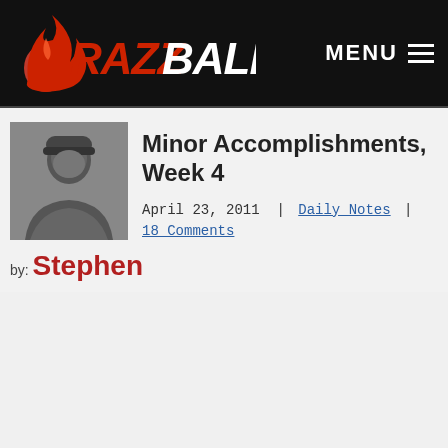RAZZBALL | MENU
[Figure (logo): Razzball logo with flame icon and stylized red and white text on black background, plus MENU hamburger icon top right]
Minor Accomplishments, Week 4
April 23, 2011 | Daily Notes | 18 Comments
by: Stephen